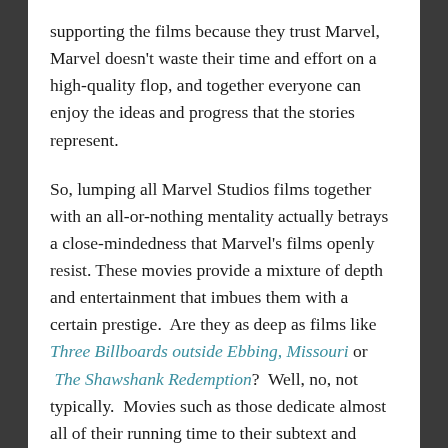supporting the films because they trust Marvel, Marvel doesn't waste their time and effort on a high-quality flop, and together everyone can enjoy the ideas and progress that the stories represent.
So, lumping all Marvel Studios films together with an all-or-nothing mentality actually betrays a close-mindedness that Marvel's films openly resist. These movies provide a mixture of depth and entertainment that imbues them with a certain prestige. Are they as deep as films like Three Billboards outside Ebbing, Missouri or The Shawshank Redemption? Well, no, not typically. Movies such as those dedicate almost all of their running time to their subtext and messages. And that's great. It makes them different from Marvel movies and other blockbusters. And, for some, it will make them more enjoyable. But that doesn't make them